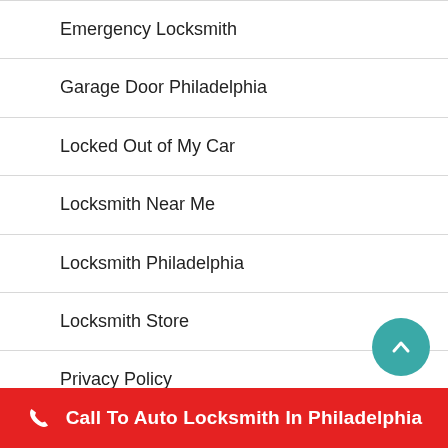Emergency Locksmith
Garage Door Philadelphia
Locked Out of My Car
Locksmith Near Me
Locksmith Philadelphia
Locksmith Store
Privacy Policy
Rekey Locks
Call To Auto Locksmith In Philadelphia